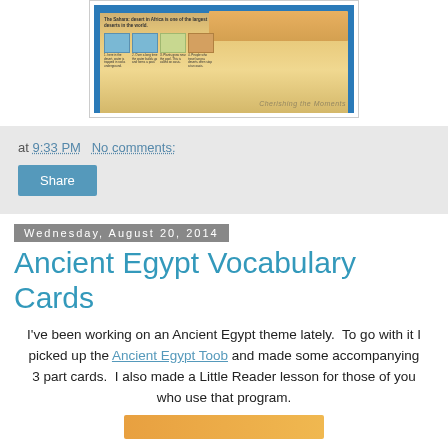[Figure (photo): Open children's book about desert/Sahara with illustrations of oases and camels, shown on carpet background]
at 9:33 PM   No comments:
Share
Wednesday, August 20, 2014
Ancient Egypt Vocabulary Cards
I've been working on an Ancient Egypt theme lately.  To go with it I picked up the Ancient Egypt Toob and made some accompanying 3 part cards.  I also made a Little Reader lesson for those of you who use that program.
[Figure (photo): Partial orange/tan image at bottom, appears to be vocabulary cards]